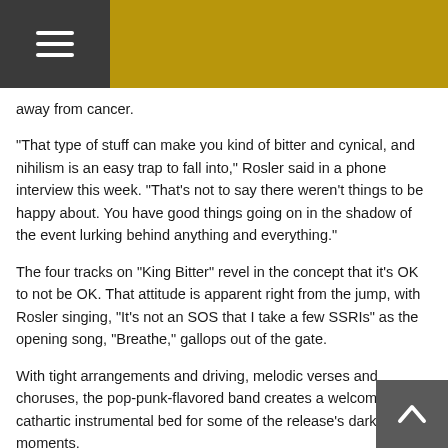away from cancer.
“That type of stuff can make you kind of bitter and cynical, and nihilism is an easy trap to fall into,” Rosler said in a phone interview this week. “That’s not to say there weren’t things to be happy about. You have good things going on in the shadow of the event lurking behind anything and everything.”
The four tracks on “King Bitter” revel in the concept that it’s OK to not be OK. That attitude is apparent right from the jump, with Rosler singing, “It’s not an SOS that I take a few SSRIs” as the opening song, “Breathe,” gallops out of the gate.
With tight arrangements and driving, melodic verses and choruses, the pop-punk-flavored band creates a welcoming and cathartic instrumental bed for some of the release’s darker lyrical moments.